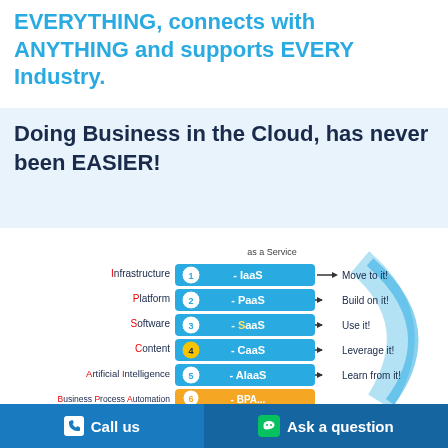EVERYTHING, connects with ANYTHING and supports EVERY Industry.
Doing Business in the Cloud, has never been EASIER!
[Figure (infographic): Cloud services diagram showing as a Service layers: 1-IaaS (Move to it!), 2-PaaS (Build on it!), 3-SaaS (Use it!), 4-CaaS (Leverage it!), 5-AIaaS (Learn from it!), 6-BPA... (Automate it!). Left labels in red/blue: Infrastructure, Platform, Software, Content, Artificial Intelligence, Business Process Automation. Blue arc decoration on right side.]
Call us   Ask a question